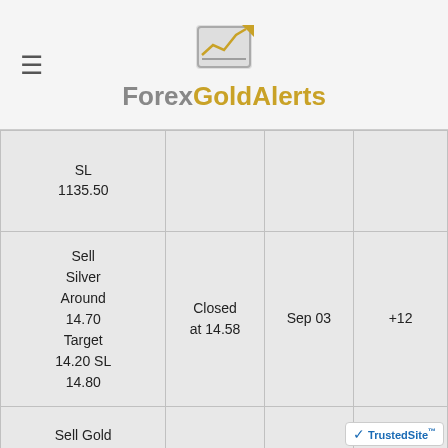ForexGoldAlerts
| Signal | Close | Date | Pips |
| --- | --- | --- | --- |
| SL 1135.50 |  |  |  |
| Sell Silver Around 14.70 Target 14.20 SL 14.80 | Closed at 14.58 | Sep 03 | +12 |
| Sell Gold Around 1125.00 Target 1115.00 SL 1129.00 | Closed at 1120.60 | Sep 04 | +440 |
| Sell |  |  |  |